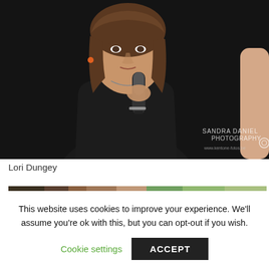[Figure (photo): A woman with shoulder-length brown hair holding a microphone, wearing a black top over a colorful patterned shirt, orange earrings, with a watermark reading 'Sandra Daniel Photography' in the lower right. Dark background. Another person's arm visible on the right edge.]
Lori Dungey
This website uses cookies to improve your experience. We'll assume you're ok with this, but you can opt-out if you wish.
Cookie settings    ACCEPT